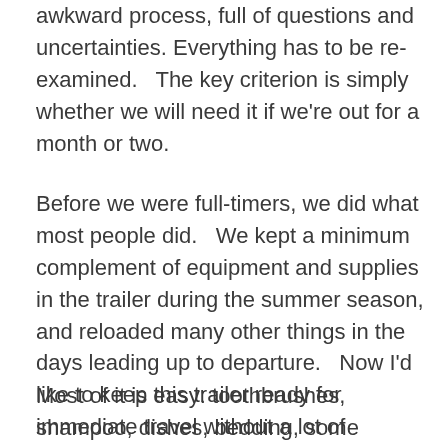awkward process, full of questions and uncertainties. Everything has to be re-examined.   The key criterion is simply whether we will need it if we're out for a month or two.
Before we were full-timers, we did what most people did.   We kept a minimum complement of equipment and supplies in the trailer during the summer season, and reloaded many other things in the days leading up to departure.   Now I'd like to keep this trailer ready for immediate travel without a lot of reloading.   That means duplication of many things that we use in both the house and trailer.
Most of it is easy: toothbrushes, shampoo, dishes, bedding, some clothes.   Anything in the house that is needed on the road and is reasonably cheap will have a